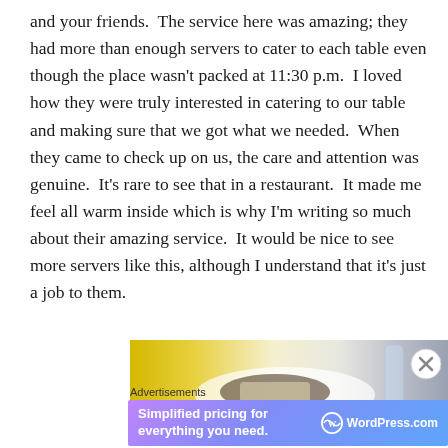and your friends.  The service here was amazing; they had more than enough servers to cater to each table even though the place wasn't packed at 11:30 p.m.  I loved how they were truly interested in catering to our table and making sure that we got what we needed.  When they came to check up on us, the care and attention was genuine.  It's rare to see that in a restaurant.  It made me feel all warm inside which is why I'm writing so much about their amazing service.  It would be nice to see more servers like this, although I understand that it's just a job to them.
[Figure (photo): Photo of a food dish on a white plate with yellow/warm background, partially visible]
Advertisements
[Figure (screenshot): WordPress.com advertisement banner: 'Simplified pricing for everything you need.' with WordPress.com logo]